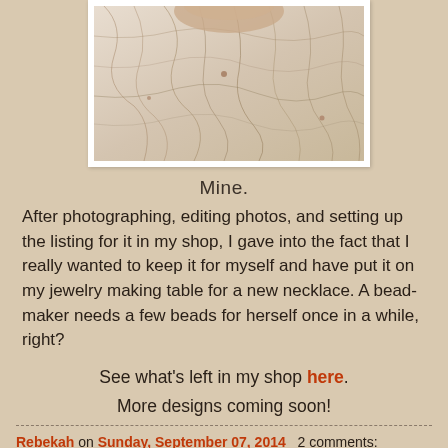[Figure (photo): Close-up photo of a crackled, textured ceramic bead surface in ivory/cream tones with brown lines, displayed with a white border/mat]
Mine.
After photographing, editing photos, and setting up the listing for it in my shop, I gave into the fact that I really wanted to keep it for myself and have put it on my jewelry making table for a new necklace. A bead-maker needs a few beads for herself once in a while, right?
See what's left in my shop here.
More designs coming soon!
Rebekah on Sunday, September 07, 2014   2 comments: